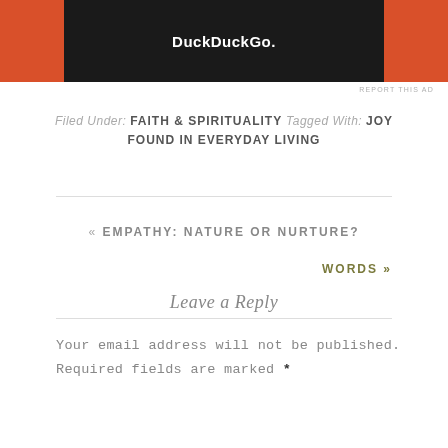[Figure (screenshot): DuckDuckGo advertisement banner with orange sides and dark center showing DuckDuckGo logo and text]
REPORT THIS AD
Filed Under: FAITH & SPIRITUALITY Tagged With: JOY FOUND IN EVERYDAY LIVING
« EMPATHY: NATURE OR NURTURE?
WORDS »
Leave a Reply
Your email address will not be published. Required fields are marked *